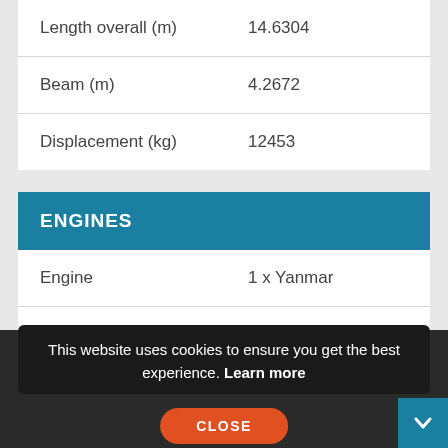| Property | Value |
| --- | --- |
| Length overall (m) | 14.6304 |
| Beam (m) | 4.2672 |
| Displacement (kg) | 12453 |
ENGINES
| Property | Value |
| --- | --- |
| Engine | 1 x Yanmar |
| Fuel | Diesel |
ABOUT THE SELLER
This website uses cookies to ensure you get the best experience. Learn more
CLOSE